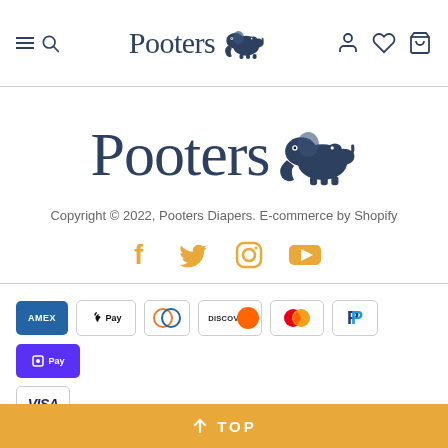Pooters — navigation header with hamburger/search, logo, user/wishlist/cart icons
[Figure (logo): Pooters brand logo — large serif text 'Pooters' with elephant icon, centered]
Copyright © 2022, Pooters Diapers. E-commerce by Shopify
[Figure (other): Social media icons: Facebook, Twitter, Instagram, YouTube — in orange/gold color]
[Figure (other): Payment method badges: AMEX, Apple Pay, Diners Club, Discover, Mastercard, PayPal, Shop Pay, Visa]
↑ TOP